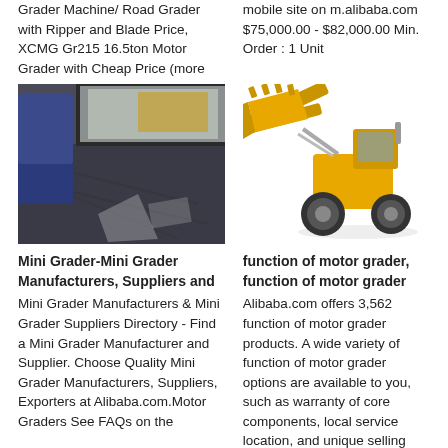Grader Machine/ Road Grader with Ripper and Blade Price, XCMG Gr215 16.5ton Motor Grader with Cheap Price (more
mobile site on m.alibaba.com $75,000.00 - $82,000.00 Min. Order : 1 Unit
[Figure (photo): Interior/cab view of a motor grader machine showing dark floor mat and blue seat, with yellow machinery visible through window]
[Figure (photo): Yellow wheel loader / front loader construction machine photographed against white background]
Mini Grader-Mini Grader Manufacturers, Suppliers and Mini Grader Manufacturers & Mini Grader Suppliers Directory - Find a Mini Grader Manufacturer and Supplier. Choose Quality Mini Grader Manufacturers, Suppliers, Exporters at Alibaba.com.Motor Graders See FAQs on the
function of motor grader, function of motor grader Alibaba.com offers 3,562 function of motor grader products. A wide variety of function of motor grader options are available to you, such as warranty of core components, local service location, and unique selling point.